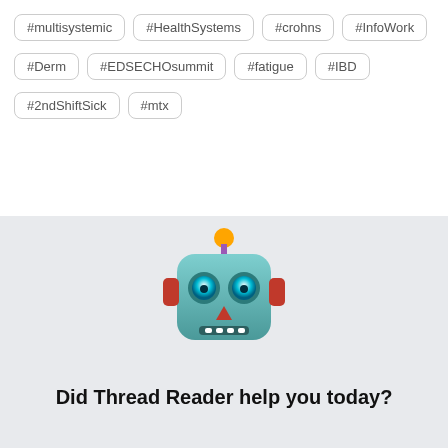#multisystemic
#HealthSystems
#crohns
#InfoWork
#Derm
#EDSECHOsummit
#fatigue
#IBD
#2ndShiftSick
#mtx
[Figure (illustration): Robot emoji face — metallic teal square robot head with blue eyes, red nose triangle, orange antenna ball, purple collar, red ear protrusions]
Did Thread Reader help you today?